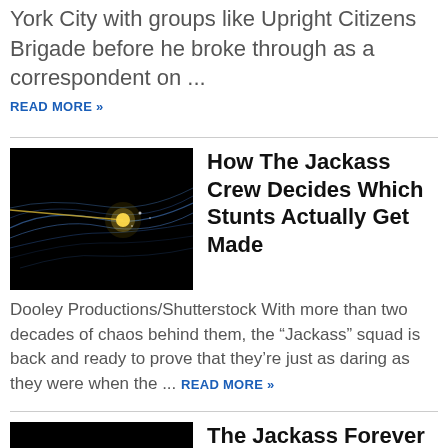York City with groups like Upright Citizens Brigade before he broke through as a correspondent on ...
READ MORE »
How The Jackass Crew Decides Which Stunts Actually Get Made
[Figure (photo): Dark abstract image with blue light streaks and a yellow-white glowing point, used as article thumbnail]
Dooley Productions/Shutterstock With more than two decades of chaos behind them, the “Jackass” squad is back and ready to prove that they’re just as daring as they were when the ... READ MORE »
The Jackass Forever Scene That Went Too Far
[Figure (photo): Dark abstract image with blue light streaks and a yellow-white glowing point, used as article thumbnail]
Kevin Winter/Getty Images The “Jackass” gang has